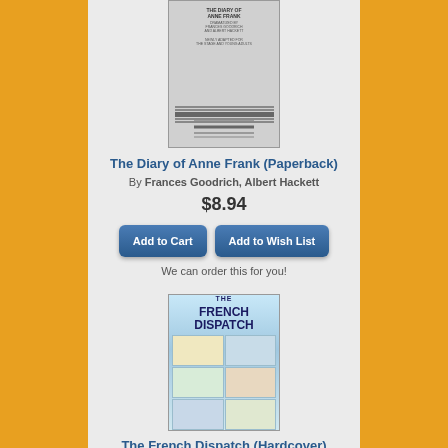[Figure (photo): Book cover of The Diary of Anne Frank, gray/white minimalist design with parallel lines]
The Diary of Anne Frank (Paperback)
By Frances Goodrich, Albert Hackett
$8.94
Add to Cart
Add to Wish List
We can order this for you!
[Figure (photo): Book cover of The French Dispatch, illustrated colorful grid-style cover by Wes Anderson]
The French Dispatch (Hardcover)
By Wes Anderson